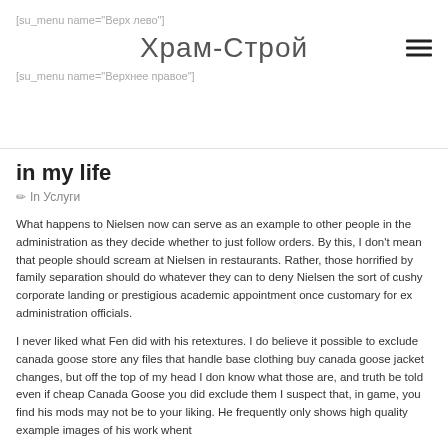[su_menu name="Верх лево"]
Храм-Строй
[su_menu name="Верхнее правое"]
in my life
✏ In Услуги
What happens to Nielsen now can serve as an example to other people in the administration as they decide whether to just follow orders. By this, I don't mean that people should scream at Nielsen in restaurants. Rather, those horrified by family separation should do whatever they can to deny Nielsen the sort of cushy corporate landing or prestigious academic appointment once customary for ex administration officials.
I never liked what Fen did with his retextures. I do believe it possible to exclude canada goose store any files that handle base clothing buy canada goose jacket changes, but off the top of my head I don know what those are, and truth be told even if cheap Canada Goose you did exclude them I suspect that, in game, you find his mods may not be to your liking. He frequently only shows high quality example images of his work whent